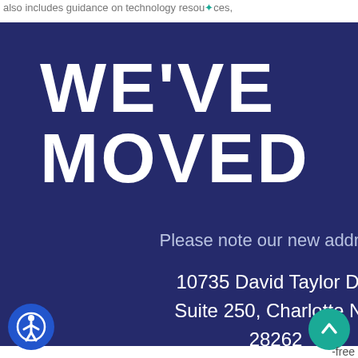also includes guidance on technology resources,
[Figure (infographic): Dark navy blue announcement box with large white bold text reading WE'VE MOVED, followed by smaller white text saying Please note our new address: 10735 David Taylor Dr., Suite 250, Charlotte NC 28262. Accessibility icon in bottom-left corner and scroll-to-top teal button in bottom-right corner. Partial text fragments visible on right side of page in teal and gray colors.]
WE'VE MOVED
Please note our new address:
10735 David Taylor Dr., Suite 250, Charlotte NC 28262